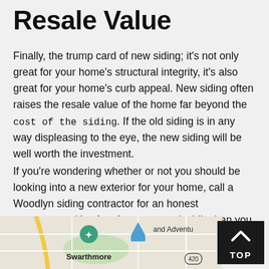Resale Value
Finally, the trump card of new siding; it's not only great for your home's structural integrity, it's also great for your home's curb appeal. New siding often raises the resale value of the home far beyond the cost of the siding. If the old siding is in any way displeasing to the eye, the new siding will be well worth the investment.
If you're wondering whether or not you should be looking into a new exterior for your home, call a Woodlyn siding contractor for an honest assessment; it's often far more worthwhile than you might expect.
[Figure (map): Street map showing Swarthmore area with location pins including a Foursquare marker and a blue triangular marker labeled 'and Adventu', road 420 visible at bottom right]
[Figure (other): Dark button with upward chevron arrow and text 'TOP']